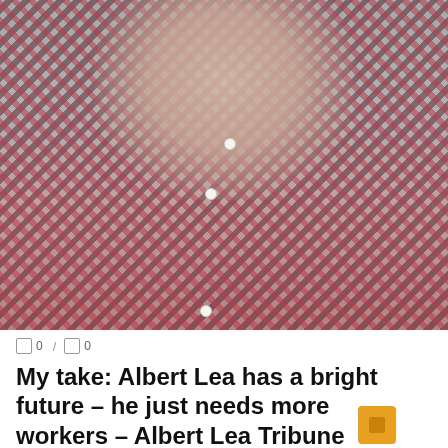[Figure (photo): Portrait photo of an elderly man wearing a red and black plaid flannel shirt, cropped from shoulders up, light gray background.]
0 / 0
My take: Albert Lea has a bright future – he just needs more workers – Albert Lea Tribune